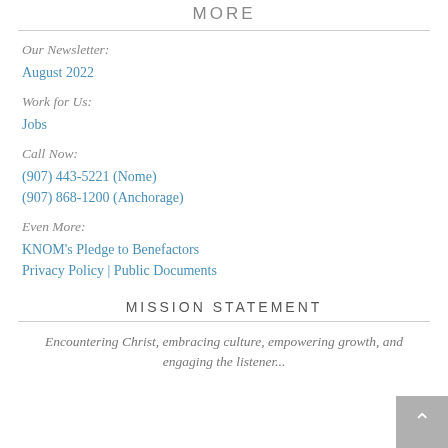MORE
Our Newsletter:
August 2022
Work for Us:
Jobs
Call Now:
(907) 443-5221 (Nome)
(907) 868-1200 (Anchorage)
Even More:
KNOM's Pledge to Benefactors
Privacy Policy | Public Documents
MISSION STATEMENT
Encountering Christ, embracing culture, empowering growth, and engaging the listener...